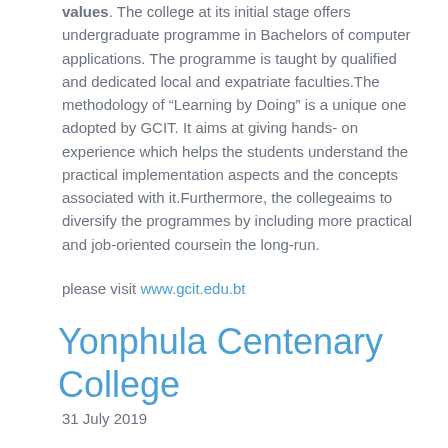values. The college at its initial stage offers undergraduate programme in Bachelors of computer applications. The programme is taught by qualified and dedicated local and expatriate faculties.The methodology of “Learning by Doing” is a unique one adopted by GCIT. It aims at giving hands- on experience which helps the students understand the practical implementation aspects and the concepts associated with it.Furthermore, the collegeaims to diversify the programmes by including more practical and job-oriented coursein the long-run.
please visit www.gcit.edu.bt
Yonphula Centenary College
31 July 2019